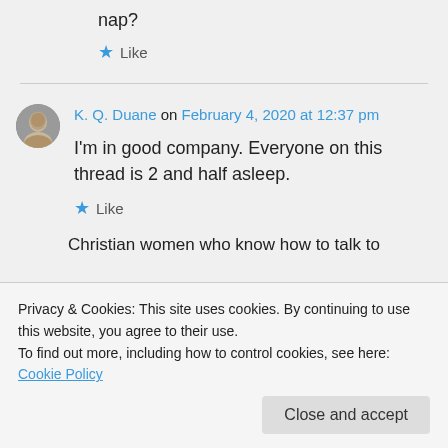nap?
★ Like
K. Q. Duane on February 4, 2020 at 12:37 pm
I'm in good company. Everyone on this thread is 2 and half asleep.
★ Like
Privacy & Cookies: This site uses cookies. By continuing to use this website, you agree to their use.
To find out more, including how to control cookies, see here: Cookie Policy
Close and accept
Christian women who know how to talk to